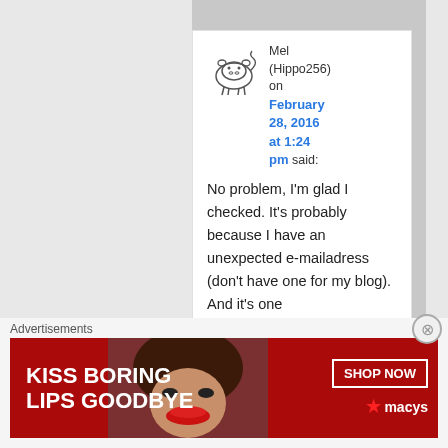Mel (Hippo256) on February 28, 2016 at 1:24 pm said:
No problem, I'm glad I checked. It's probably because I have an unexpected e-mailadress (don't have one for my blog). And it's one
Advertisements
[Figure (illustration): Advertisement banner: red background with woman's face, text 'KISS BORING LIPS GOODBYE', 'SHOP NOW' button, Macy's logo with star]